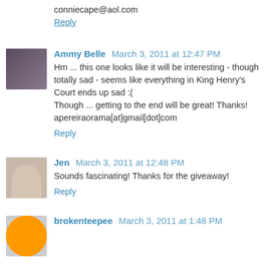conniecape@aol.com
Reply
Ammy Belle  March 3, 2011 at 12:47 PM
Hm ... this one looks like it will be interesting - though totally sad - seems like everything in King Henry's Court ends up sad :(
Though ... getting to the end will be great! Thanks!
apereiraorama[at]gmail[dot]com
Reply
Jen  March 3, 2011 at 12:48 PM
Sounds fascinating! Thanks for the giveaway!
Reply
brokenteepee  March 3, 2011 at 1:48 PM